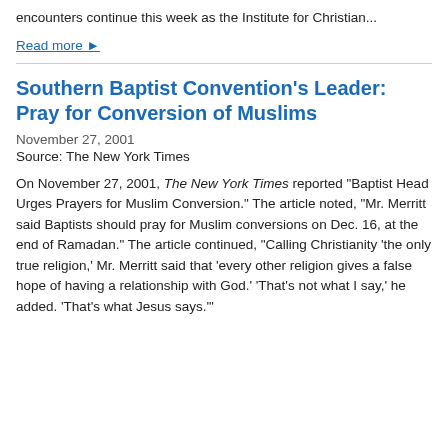encounters continue this week as the Institute for Christian...
Read more ▶
Southern Baptist Convention's Leader: Pray for Conversion of Muslims
November 27, 2001
Source: The New York Times
On November 27, 2001, The New York Times reported "Baptist Head Urges Prayers for Muslim Conversion." The article noted, "Mr. Merritt said Baptists should pray for Muslim conversions on Dec. 16, at the end of Ramadan." The article continued, "Calling Christianity 'the only true religion,' Mr. Merritt said that 'every other religion gives a false hope of having a relationship with God.' 'That's not what I say,' he added. 'That's what Jesus says.'"